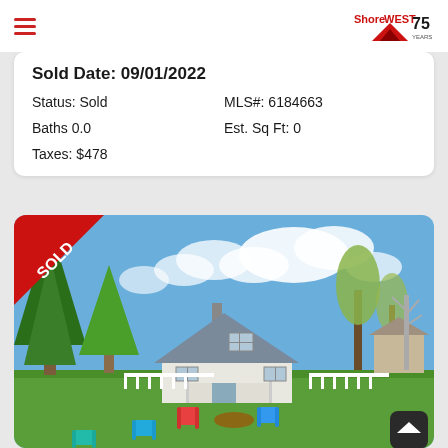ShoreWest 75 Years
Sold Date: 09/01/2022
Status: Sold
MLS#: 6184663
Baths 0.0
Est. Sq Ft: 0
Taxes: $478
[Figure (photo): Exterior photo of a sold residential property — white house with grey roof, chimney, front porch, white picket fence, large green lawn with colorful Adirondack chairs and a fire pit, trees in background, blue sky with clouds. A red SOLD ribbon banner in upper left corner.]